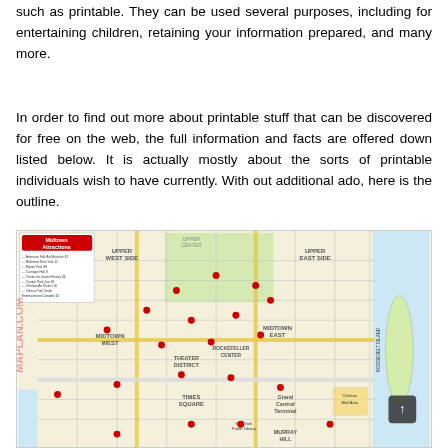such as printable. They can be used several purposes, including for entertaining children, retaining your information prepared, and many more.
In order to find out more about printable stuff that can be discovered for free on the web, the full information and facts are offered down listed below. It is actually mostly about the sorts of printable individuals wish to have currently. With out additional ado, here is the outline.
[Figure (map): A map of Midtown Manhattan attractions showing Upper West Side, Upper East Side, Midtown West, Midtown East, Theater District, Rockefeller Center, Times Square, Murray Hill, and Roosevelt Island areas with labeled streets and attraction markers.]